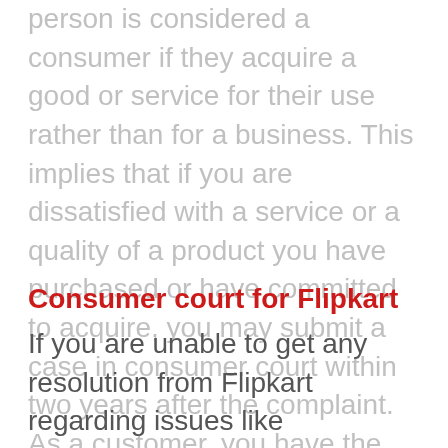person is considered a consumer if they acquire a good or service for their use rather than for a business. This implies that if you are dissatisfied with a service or a quality of a product you have purchased or have committed to acquire, you may submit a case in consumer court within two years after the complaint. As a customer, you have the right to be compensated for any inconvenience or harm by using a subpar good or service.
Consumer court for Flipkart
If you are unable to get any resolution from Flipkart regarding issues like undeliverable package, refund refusal, faulty appliances, unwanted parcel received, Return not picked up, empty package delivered, refusal to return faulty goods etc, you can approach Consumer Court to file a case